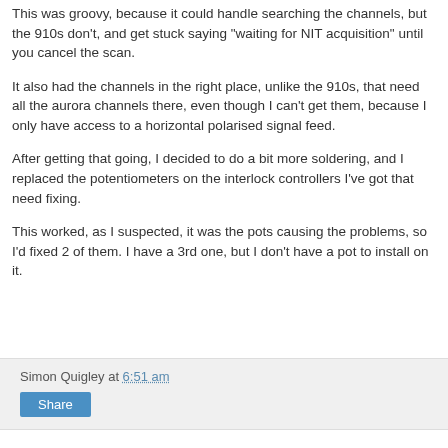This was groovy, because it could handle searching the channels, but the 910s don't, and get stuck saying "waiting for NIT acquisition" until you cancel the scan.
It also had the channels in the right place, unlike the 910s, that need all the aurora channels there, even though I can't get them, because I only have access to a horizontal polarised signal feed.
After getting that going, I decided to do a bit more soldering, and I replaced the potentiometers on the interlock controllers I've got that need fixing.
This worked, as I suspected, it was the pots causing the problems, so I'd fixed 2 of them. I have a 3rd one, but I don't have a pot to install on it.
Simon Quigley at 6:51 am  Share